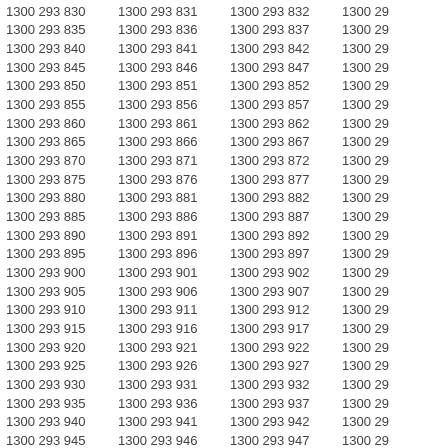1300 293 830  1300 293 831  1300 293 832  1300 29
1300 293 835  1300 293 836  1300 293 837  1300 29
1300 293 840  1300 293 841  1300 293 842  1300 29
1300 293 845  1300 293 846  1300 293 847  1300 29
1300 293 850  1300 293 851  1300 293 852  1300 29
1300 293 855  1300 293 856  1300 293 857  1300 29
1300 293 860  1300 293 861  1300 293 862  1300 29
1300 293 865  1300 293 866  1300 293 867  1300 29
1300 293 870  1300 293 871  1300 293 872  1300 29
1300 293 875  1300 293 876  1300 293 877  1300 29
1300 293 880  1300 293 881  1300 293 882  1300 29
1300 293 885  1300 293 886  1300 293 887  1300 29
1300 293 890  1300 293 891  1300 293 892  1300 29
1300 293 895  1300 293 896  1300 293 897  1300 29
1300 293 900  1300 293 901  1300 293 902  1300 29
1300 293 905  1300 293 906  1300 293 907  1300 29
1300 293 910  1300 293 911  1300 293 912  1300 29
1300 293 915  1300 293 916  1300 293 917  1300 29
1300 293 920  1300 293 921  1300 293 922  1300 29
1300 293 925  1300 293 926  1300 293 927  1300 29
1300 293 930  1300 293 931  1300 293 932  1300 29
1300 293 935  1300 293 936  1300 293 937  1300 29
1300 293 940  1300 293 941  1300 293 942  1300 29
1300 293 945  1300 293 946  1300 293 947  1300 29